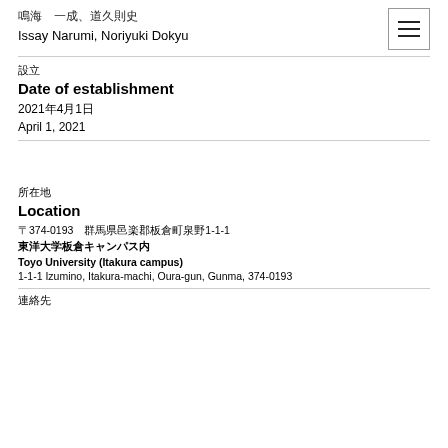鳴海　一成、道久則史
Issay Narumi, Noriyuki Dokyu
設立
Date of establishment
2021年4月1日
April 1, 2021
所在地
Location
〒374-0193　群馬県邑楽郡板倉町泉野1-1-1
東洋大学板倉キャンパス内
Toyo University (Itakura campus)
1-1-1 Izumino, Itakura-machi, Oura-gun, Gunma, 374-0193
連絡先